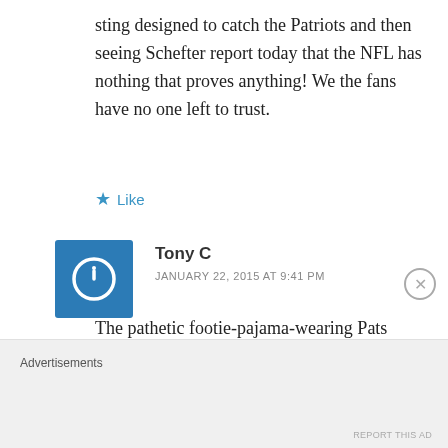sting designed to catch the Patriots and then seeing Schefter report today that the NFL has nothing that proves anything! We the fans have no one left to trust.
Like
Tony C
JANUARY 22, 2015 AT 9:41 PM
The pathetic footie-pajama-wearing Pats homer in me soooooo wants it to come out that Mortensen’s “2 psi”
Advertisements
REPORT THIS AD